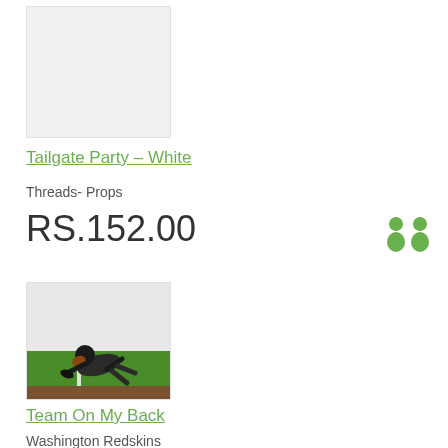[Figure (photo): Light gray placeholder product image for Tailgate Party - White]
Tailgate Party - White
Threads- Props
RS.152.00
[Figure (illustration): Animated character in football gear crawling on a green field with white yard line]
Team On My Back
Washington Redskins
[Figure (illustration): Two green silhouette figures (people icons) in the top right corner]